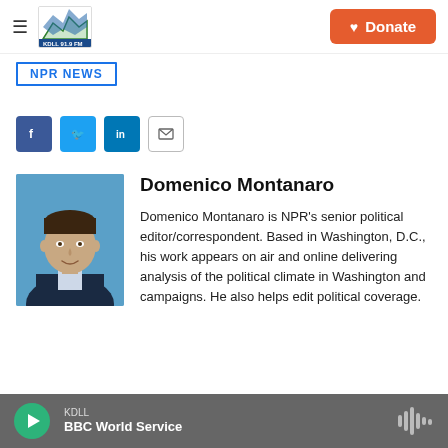KDLL [logo] | Donate
NPR NEWS
[Figure (other): Social share buttons: Facebook, Twitter, LinkedIn, Email]
[Figure (photo): Headshot of Domenico Montanaro against blue background]
Domenico Montanaro
Domenico Montanaro is NPR's senior political editor/correspondent. Based in Washington, D.C., his work appears on air and online delivering analysis of the political climate in Washington and campaigns. He also helps edit political coverage.
KDLL BBC World Service